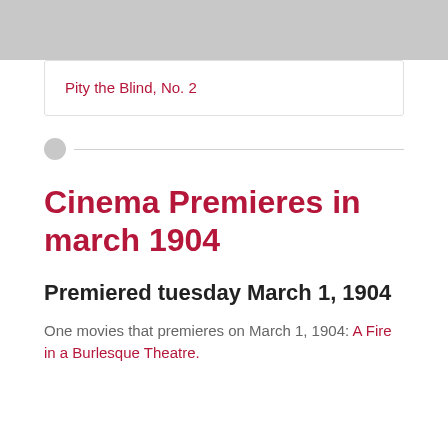[Figure (other): Gray banner/image area at top of page]
Pity the Blind, No. 2
Cinema Premieres in march 1904
Premiered tuesday March 1, 1904
One movies that premieres on March 1, 1904: A Fire in a Burlesque Theatre.